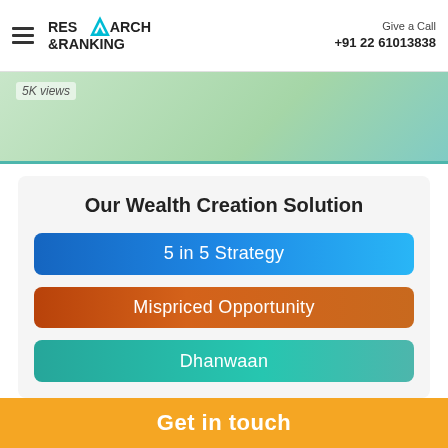Research & Ranking | Give a Call +91 22 61013838
5K views
Our Wealth Creation Solution
5 in 5 Strategy
Mispriced Opportunity
Dhanwaan
Get in touch